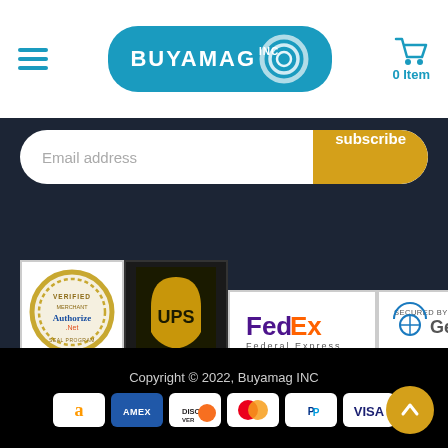[Figure (logo): Buyamag INC logo with teal rounded rectangle and concentric ring graphic]
[Figure (logo): Shopping cart icon with '0 Item' text in teal]
Email address
subscribe
[Figure (logo): Authorize.Net verified merchant badge]
[Figure (logo): UPS logo on dark background]
[Figure (logo): FedEx Federal Express logo]
[Figure (logo): Secured by GeoTrust badge]
Copyright © 2022, Buyamag INC
[Figure (logo): Payment icons: Amazon, AMEX, Discover, Mastercard, PayPal, Visa]